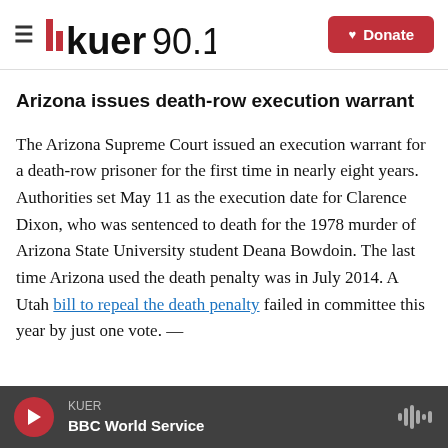KUER 90.1 | Donate
Arizona issues death-row execution warrant
The Arizona Supreme Court issued an execution warrant for a death-row prisoner for the first time in nearly eight years. Authorities set May 11 as the execution date for Clarence Dixon, who was sentenced to death for the 1978 murder of Arizona State University student Deana Bowdoin. The last time Arizona used the death penalty was in July 2014. A Utah bill to repeal the death penalty failed in committee this year by just one vote. —
KUER | BBC World Service